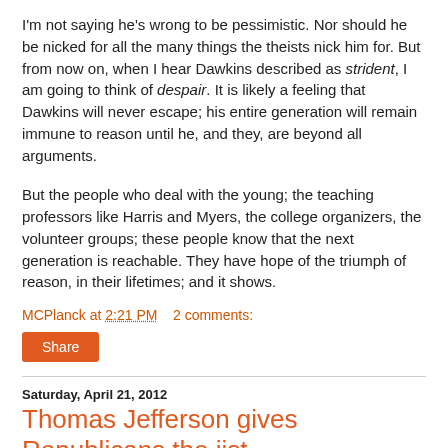I'm not saying he's wrong to be pessimistic. Nor should he be nicked for all the many things the theists nick him for. But from now on, when I hear Dawkins described as strident, I am going to think of despair. It is likely a feeling that Dawkins will never escape; his entire generation will remain immune to reason until he, and they, are beyond all arguments.
But the people who deal with the young; the teaching professors like Harris and Myers, the college organizers, the volunteer groups; these people know that the next generation is reachable. They have hope of the triumph of reason, in their lifetimes; and it shows.
MCPlanck at 2:21 PM    2 comments:
Share
Saturday, April 21, 2012
Thomas Jefferson gives Republicans the jist...